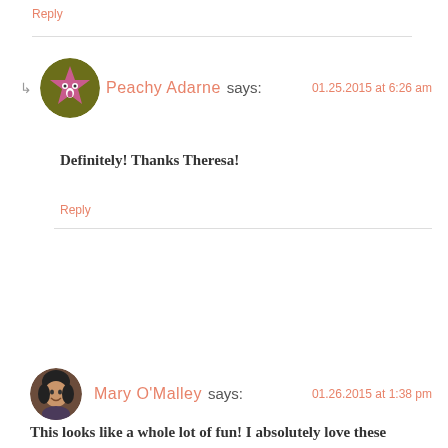Reply
Peachy Adarne says: 01.25.2015 at 6:26 am
Definitely! Thanks Theresa!
Reply
Mary O'Malley says: 01.26.2015 at 1:38 pm
This looks like a whole lot of fun! I absolutely love these